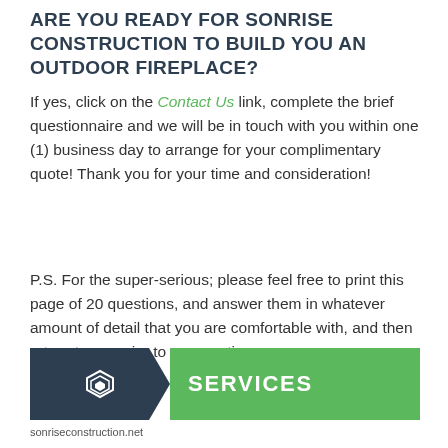ARE YOU READY FOR SONRISE CONSTRUCTION TO BUILD YOU AN OUTDOOR FIREPLACE?
If yes, click on the Contact Us link, complete the brief questionnaire and we will be in touch with you within one (1) business day to arrange for your complimentary quote! Thank you for your time and consideration!
P.S. For the super-serious; please feel free to print this page of 20 questions, and answer them in whatever amount of detail that you are comfortable with, and then return to me prior to our meeting.
SERVICES